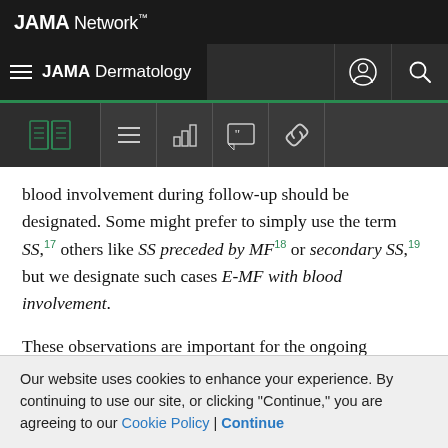JAMA Network
JAMA Dermatology
blood involvement during follow-up should be designated. Some might prefer to simply use the term SS,17 others like SS preceded by MF18 or secondary SS,19 but we designate such cases E-MF with blood involvement.
These observations are important for the ongoing discussion regarding the relationship between SS and MF. Often, SS is designated as a leukemic phase or leukemic variant of MF. Indeed, there are morphologic (atypical
Our website uses cookies to enhance your experience. By continuing to use our site, or clicking "Continue," you are agreeing to our Cookie Policy | Continue